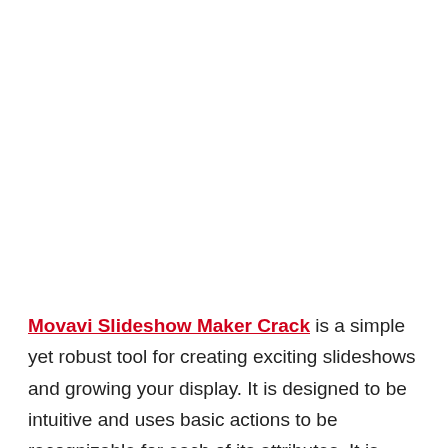Movavi Slideshow Maker Crack is a simple yet robust tool for creating exciting slideshows and growing your display. It is designed to be intuitive and uses basic actions to be recognizable for each of its attributes. It is genuinely straightforward because of its user-friendly approach. The software maintains a dedicated mode that efficiently helps make it also much less complicated by